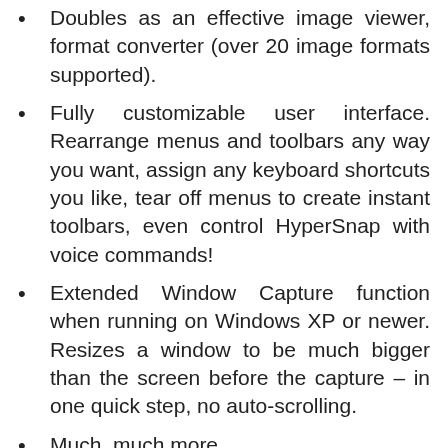Doubles as an effective image viewer, format converter (over 20 image formats supported).
Fully customizable user interface. Rearrange menus and toolbars any way you want, assign any keyboard shortcuts you like, tear off menus to create instant toolbars, even control HyperSnap with voice commands!
Extended Window Capture function when running on Windows XP or newer. Resizes a window to be much bigger than the screen before the capture – in one quick step, no auto-scrolling.
Much, much more.
Installation Instructions
1. Download and extract the file
2. To...